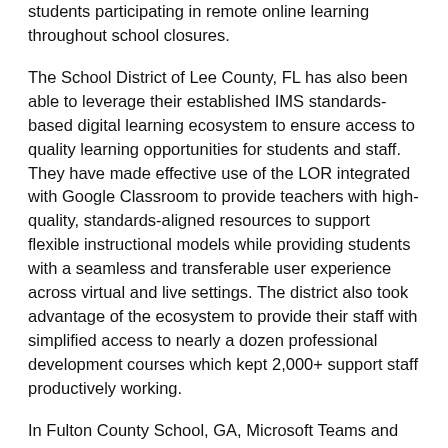students participating in remote online learning throughout school closures.
The School District of Lee County, FL has also been able to leverage their established IMS standards-based digital learning ecosystem to ensure access to quality learning opportunities for students and staff. They have made effective use of the LOR integrated with Google Classroom to provide teachers with high-quality, standards-aligned resources to support flexible instructional models while providing students with a seamless and transferable user experience across virtual and live settings. The district also took advantage of the ecosystem to provide their staff with simplified access to nearly a dozen professional development courses which kept 2,000+ support staff productively working.
In Fulton County School, GA, Microsoft Teams and the SAFARI Montage LOR are being used to support their Universal Remote Learning program which was originally implemented to ensure learning continuity during extended time away from school prior to COVID-19. Teams provides their teachers with tools to build digital activities and assignments with